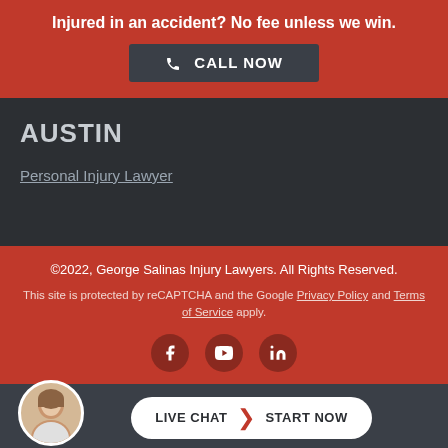Injured in an accident? No fee unless we win.
CALL NOW
AUSTIN
Personal Injury Lawyer
©2022, George Salinas Injury Lawyers. All Rights Reserved.
This site is protected by reCAPTCHA and the Google Privacy Policy and Terms of Service apply.
[Figure (infographic): Social media icons: Facebook, YouTube, LinkedIn]
LIVE CHAT  START NOW